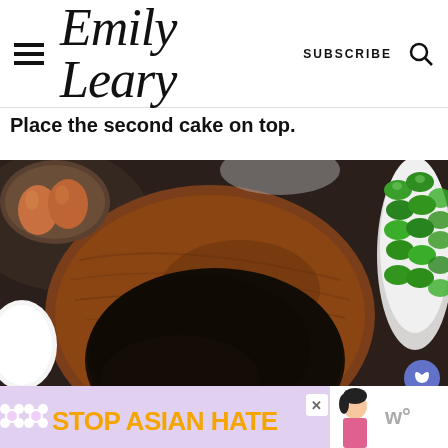Emily Leary — SUBSCRIBE [search icon]
Place the second cake on top.
[Figure (photo): Overhead shot of a dark chocolate cake layer on a wooden cutting board, surrounded by eggs in a dish, a bowl of flour/sugar, and green candy-coated chocolates in a glass bowl, all on a dark marbled surface.]
[Figure (infographic): Advertisement banner reading 'STOP ASIAN HATE' with flower decorations and an illustrated figure, on a lavender background.]